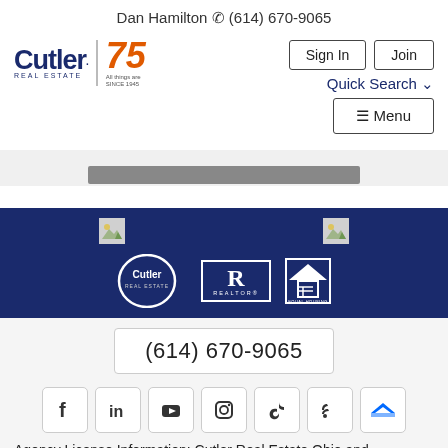Dan Hamilton ☎ (614) 670-9065
[Figure (logo): Cutler Real Estate logo with 75th anniversary badge]
Sign In | Join | Quick Search | ≡ Menu
[Figure (screenshot): Gray content bar in white/light gray area]
[Figure (logo): Dark blue footer with Cutler Real Estate, Realtor, and Equal Housing logos]
(614) 670-9065
[Figure (infographic): Social media icons: Facebook, LinkedIn, YouTube, Instagram, TikTok, Blog, Zillow]
Agency License Information: Cutler Real Estate Ohio and